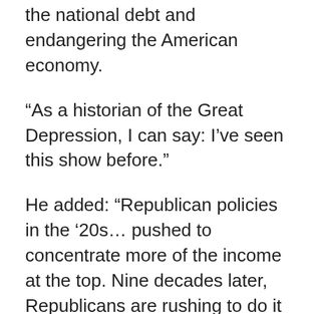the national debt and endangering the American economy.
“As a historian of the Great Depression, I can say: I’ve seen this show before.”
He added: “Republican policies in the ’20s… pushed to concentrate more of the income at the top. Nine decades later, Republicans are rushing to do it again — and they are sprinting toward an economic cliff. Another round of Government of the People, by the Republicans, for the super-rich will be catastrophic. The American people must call a halt before it’s too late.”